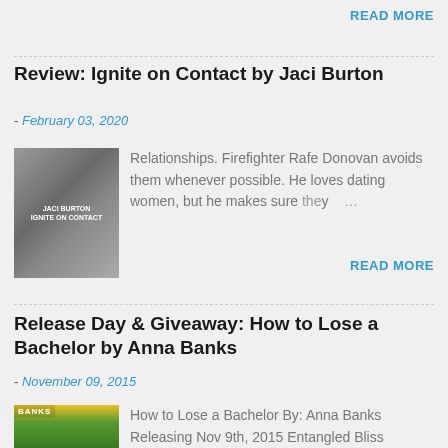READ MORE
Review: Ignite on Contact by Jaci Burton
- February 03, 2020
[Figure (photo): Book cover for Ignite on Contact by Jaci Burton]
Relationships. Firefighter Rafe Donovan avoids them whenever possible. He loves dating women, but he makes sure they ...
READ MORE
Release Day & Giveaway: How to Lose a Bachelor by Anna Banks
- November 09, 2015
[Figure (photo): Book cover for How to Lose a Bachelor by Anna Banks]
How to Lose a Bachelor By: Anna Banks Releasing Nov 9th, 2015 Entangled Bliss